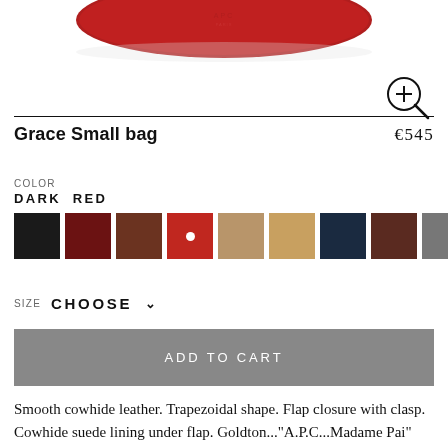[Figure (photo): Partial view of a red leather bag (Grace Small bag) with A.P.C. logo, cropped at the top of the frame]
[Figure (illustration): Zoom/magnify icon: circle with plus sign and handle]
Grace Small bag
€545
COLOR
DARK RED
[Figure (other): Color swatches: black, dark red, brown, red (selected with white dot), tan/beige, light tan, navy, dark brown, grey]
SIZE  CHOOSE
ADD TO CART
Smooth cowhide leather. Trapezoidal shape. Flap closure with clasp. Cowhide suede lining under flap. Goldton..."A.P.C...Madame Pai"bronze hardware and...